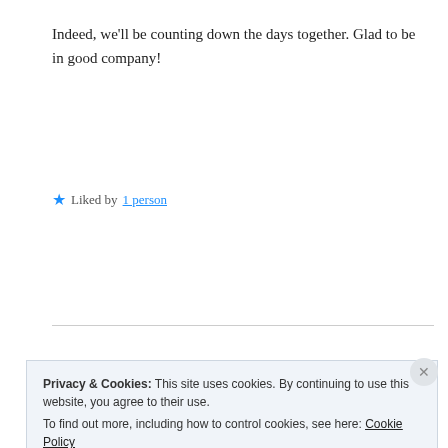Indeed, we'll be counting down the days together. Glad to be in good company!
Liked by 1 person
Reply
theskyandback
April 26, 2016 at 11:58 pm
Privacy & Cookies: This site uses cookies. By continuing to use this website, you agree to their use. To find out more, including how to control cookies, see here: Cookie Policy
Close and accept